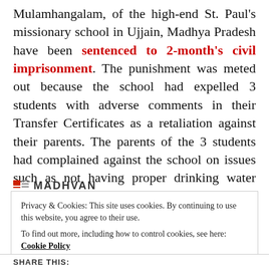Mulamhangalam, of the high-end St. Paul's missionary school in Ujjain, Madhya Pradesh have been sentenced to 2-month's civil imprisonment. The punishment was meted out because the school had expelled 3 students with adverse comments in their Transfer Certificates as a retaliation against their parents. The parents of the 3 students had complained against the school on issues such as not having proper drinking water facility, playgrounds, clean toilets, excess students, illegal construction, etc.
Privacy & Cookies: This site uses cookies. By continuing to use this website, you agree to their use. To find out more, including how to control cookies, see here: Cookie Policy
Close and accept
SHARE THIS: